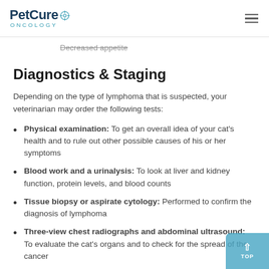PetCure ONCOLOGY
Decreased appetite
Diagnostics & Staging
Depending on the type of lymphoma that is suspected, your veterinarian may order the following tests:
Physical examination: To get an overall idea of your cat's health and to rule out other possible causes of his or her symptoms
Blood work and a urinalysis: To look at liver and kidney function, protein levels, and blood counts
Tissue biopsy or aspirate cytology: Performed to confirm the diagnosis of lymphoma
Three-view chest radiographs and abdominal ultrasound: To evaluate the cat's organs and to check for the spread of the cancer